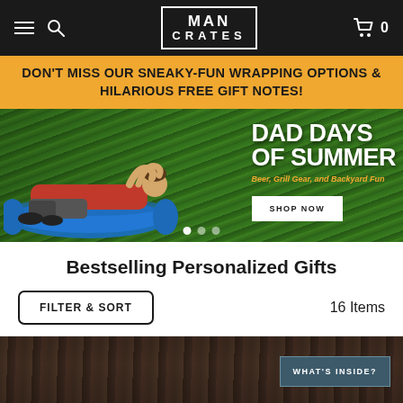Man Crates — Navigation bar with hamburger menu, search, logo, cart (0 items)
DON'T MISS OUR SNEAKY-FUN WRAPPING OPTIONS & HILARIOUS FREE GIFT NOTES!
[Figure (photo): Hero banner showing a man relaxing on a blue inflatable lounger on green grass. Text overlay reads 'DAD DAYS OF SUMMER — Beer, Grill Gear, and Backyard Fun' with a SHOP NOW button. Carousel dots visible at bottom.]
Bestselling Personalized Gifts
FILTER & SORT   16 Items
[Figure (photo): Bottom portion of a product image showing a dark wood-grain surface (crate). A 'WHAT'S INSIDE?' button is visible on the right side.]